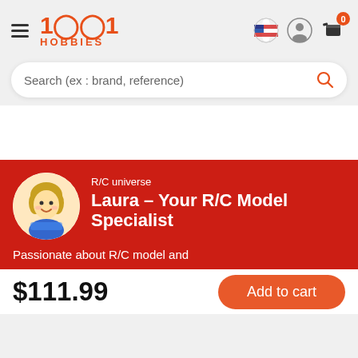[Figure (logo): 1001 Hobbies logo in orange/red with hamburger menu icon on the left and navigation icons (flag, user, cart) on the right]
Search (ex : brand, reference)
[Figure (illustration): Laura - cartoon avatar specialist for R/C models, circular portrait on red background]
R/C universe
Laura – Your R/C Model Specialist
Passionate about R/C model and
$111.99
Add to cart